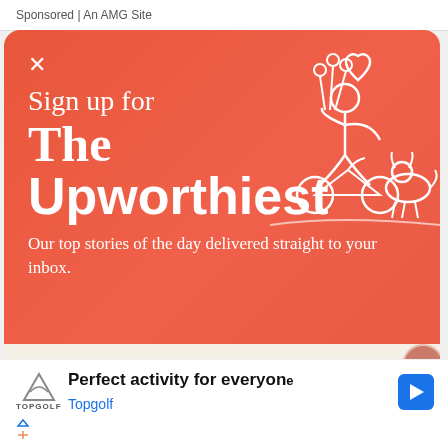Sponsored | An AMG Site
Sign up for The Upworthiest
Our top stories of the day delivered straight to your inbox.
SIGN ME UP
YES PLEASE
[Figure (illustration): White line drawing of a person on a bicycle holding flowers with a dog, and a heart above, on red/orange background]
Perfect activity for everyone
Topgolf